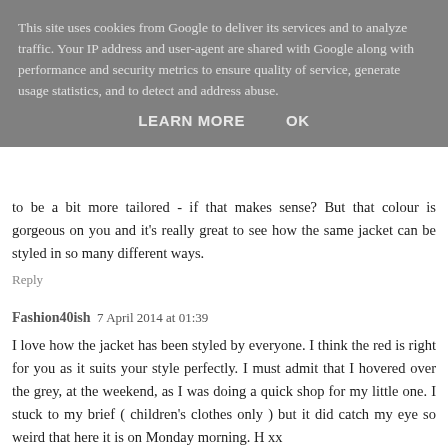This site uses cookies from Google to deliver its services and to analyze traffic. Your IP address and user-agent are shared with Google along with performance and security metrics to ensure quality of service, generate usage statistics, and to detect and address abuse.
LEARN MORE    OK
to be a bit more tailored - if that makes sense? But that colour is gorgeous on you and it's really great to see how the same jacket can be styled in so many different ways.
Reply
Fashion40ish  7 April 2014 at 01:39
I love how the jacket has been styled by everyone. I think the red is right for you as it suits your style perfectly. I must admit that I hovered over the grey, at the weekend, as I was doing a quick shop for my little one. I stuck to my brief ( children's clothes only ) but it did catch my eye so weird that here it is on Monday morning. H xx
Reply